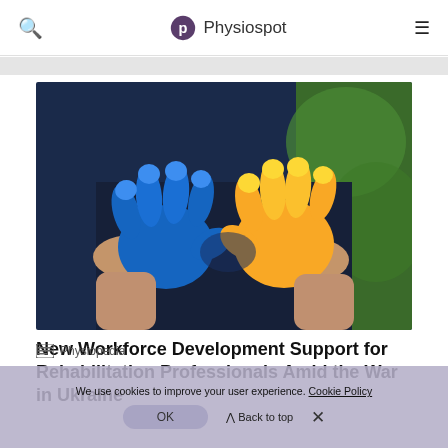Physiospot
[Figure (photo): Two hands forming a heart shape, one painted blue and one painted yellow, representing the Ukrainian flag colors, against a dark blue background]
New Workforce Development Support for Rehabilitation Professionals Amid the War in Ukraine
Physiopedia
We use cookies to improve your user experience. Cookie Policy OK Back to top ×